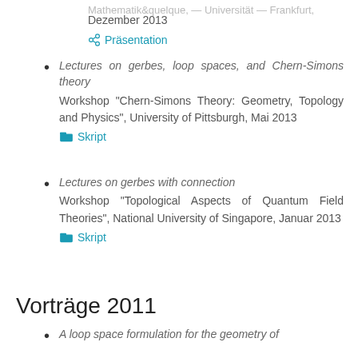Dezember 2013
Präsentation
Lectures on gerbes, loop spaces, and Chern-Simons theory
Workshop "Chern-Simons Theory: Geometry, Topology and Physics", University of Pittsburgh, Mai 2013
Skript
Lectures on gerbes with connection
Workshop "Topological Aspects of Quantum Field Theories", National University of Singapore, Januar 2013
Skript
Vorträge 2011
A loop space formulation for the geometry of